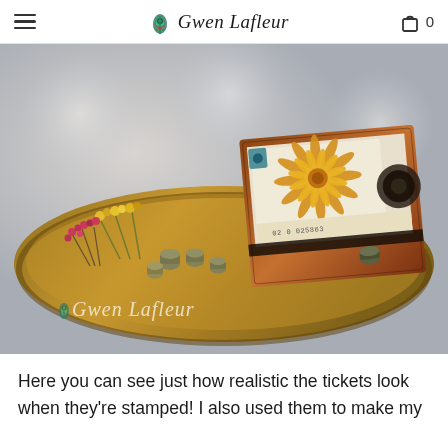≡  Gwen Lafleur  🛍 0
[Figure (photo): A wooden boat-shaped tray containing a handmade card featuring a large golden chrysanthemum flower and vintage ticket stubs, surrounded by small dried flower bunches in yellow and pink, dried seed pods, and spools of thread. A watermark reads 'Gwen Lafleur' in script in the lower left corner.]
Here you can see just how realistic the tickets look when they're stamped! I also used them to make my